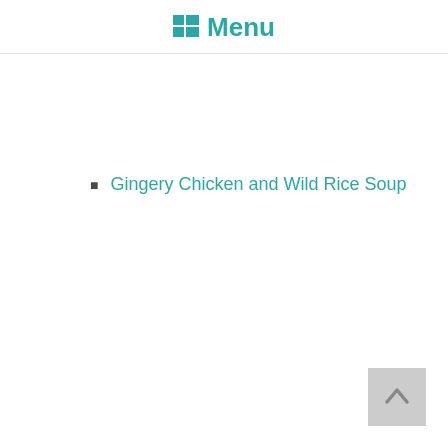Menu
Gingery Chicken and Wild Rice Soup